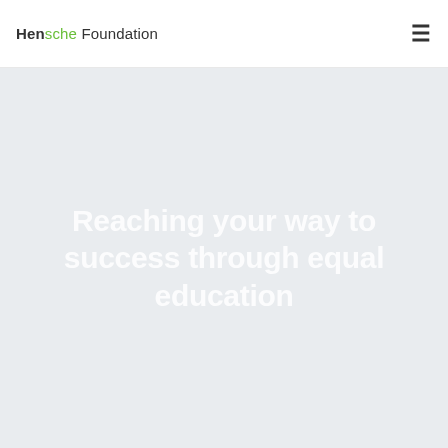Hensche Foundation
Reaching your way to success through equal education